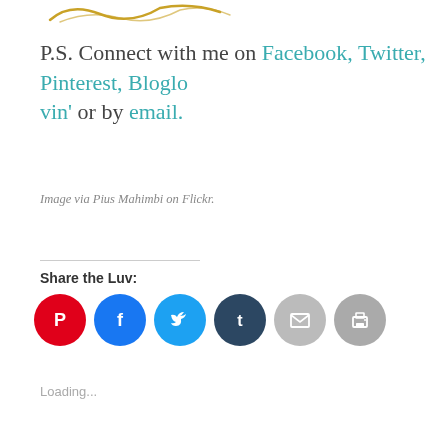[Figure (logo): Decorative cursive logo or signature in gold/yellow color at top left]
P.S. Connect with me on Facebook, Twitter, Pinterest, Bloglovin' or by email.
Image via Pius Mahimbi on Flickr.
Share the Luv:
[Figure (infographic): Row of six circular social share buttons: Pinterest (red), Facebook (blue), Twitter (light blue), Tumblr (dark blue), Email (gray), Print (gray)]
Loading...